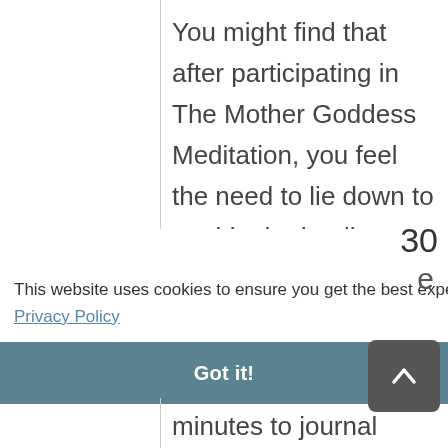You might find that after participating in The Mother Goddess Meditation, you feel the need to lie down to enable the healing to fully unfold in your system.
This website uses cookies to ensure you get the best experience on our website. Privacy Policy
Got it!
minutes to journal